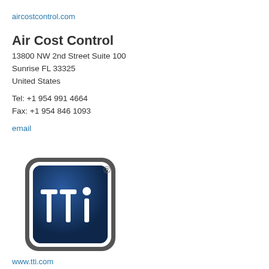aircostcontrol.com
Air Cost Control
13800 NW 2nd Street Suite 100
Sunrise FL 33325
United States
Tel: +1 954 991 4664
Fax: +1 954 846 1093
email
[Figure (logo): TTI logo — a rounded rectangle with dark grey outer border, white inner border, and dark navy blue background containing the letters 'tti' in white with a circle dot above the 'i'. A registered trademark symbol appears at top right.]
www.tti.com